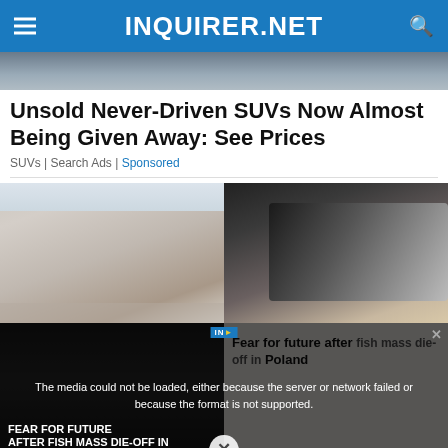INQUIRER.NET
[Figure (photo): Top portion of a dark outdoor/vehicle scene, partially cropped]
Unsold Never-Driven SUVs Now Almost Being Given Away: See Prices
SUVs | Search Ads | Sponsored
[Figure (photo): Two-panel thumbnail image: left shows elderly man with glasses in a corridor; right shows hands holding food/chocolate over a plate]
[Figure (screenshot): Video player overlay showing error message: 'The media could not be loaded, either because the server or network failed or because the format is not supported.' with INQUIRER.NET logo. Below-left overlay text reads 'FEAR FOR FUTURE AFTER FISH MASS DIE-OFF IN POLAND'. Right side shows article snippet: 'Fear for future after fish mass die-off in Poland'. An X close button appears at the bottom center.]